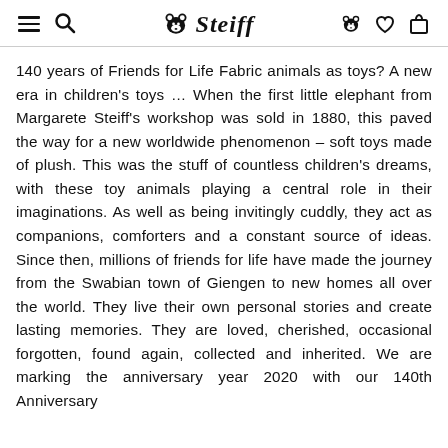≡ 🔍 🐻 Steiff 🐻 ♡ 🛍
140 years of Friends for Life Fabric animals as toys? A new era in children's toys … When the first little elephant from Margarete Steiff's workshop was sold in 1880, this paved the way for a new worldwide phenomenon – soft toys made of plush. This was the stuff of countless children's dreams, with these toy animals playing a central role in their imaginations. As well as being invitingly cuddly, they act as companions, comforters and a constant source of ideas. Since then, millions of friends for life have made the journey from the Swabian town of Giengen to new homes all over the world. They live their own personal stories and create lasting memories. They are loved, cherished, occasional forgotten, found again, collected and inherited. We are marking the anniversary year 2020 with our 140th Anniversary